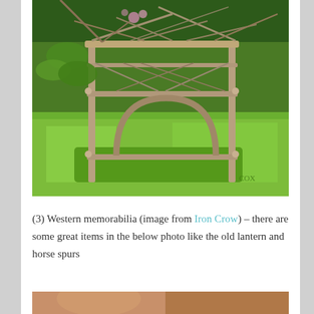[Figure (photo): A rustic wooden garden arbor or shelf structure made from natural branches and twigs, set on green grass with trees and flowering shrubs in the background. The structure has an arch design with cross-bars and appears to be a handmade outdoor furniture piece.]
(3) Western memorabilia (image from Iron Crow) – there are some great items in the below photo like the old lantern and horse spurs
[Figure (photo): Bottom portion of another photo, partially visible at the bottom of the page.]